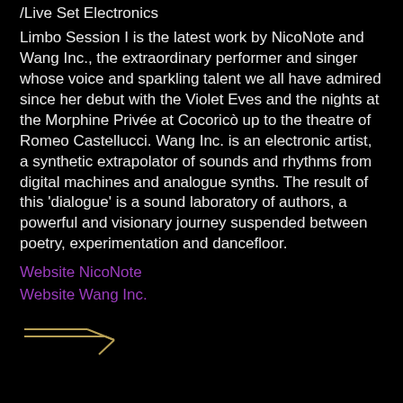/Live Set Electronics
Limbo Session I is the latest work by NicoNote and Wang Inc., the extraordinary performer and singer whose voice and sparkling talent we all have admired since her debut with the Violet Eves and the nights at the Morphine Privée at Cocoricò up to the theatre of Romeo Castellucci. Wang Inc. is an electronic artist, a synthetic extrapolator of sounds and rhythms from digital machines and analogue synths. The result of this 'dialogue' is a sound laboratory of authors, a powerful and visionary journey suspended between poetry, experimentation and dancefloor.
Website NicoNote
Website Wang Inc.
[Figure (illustration): A hand-drawn signature or logo mark consisting of two horizontal lines with an angular arrow/chevron shape pointing left, in a golden/tan color]